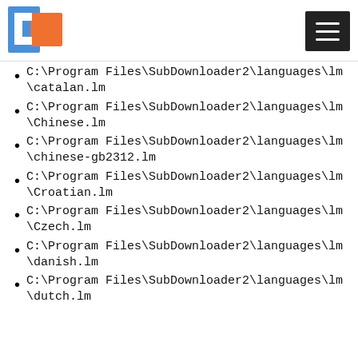[Figure (logo): Blue and orange square logo icon]
[Figure (other): Hamburger menu icon (three horizontal white lines on dark background)]
C:\Program Files\SubDownloader2\languages\lm\catalan.lm
C:\Program Files\SubDownloader2\languages\lm\Chinese.lm
C:\Program Files\SubDownloader2\languages\lm\chinese-gb2312.lm
C:\Program Files\SubDownloader2\languages\lm\Croatian.lm
C:\Program Files\SubDownloader2\languages\lm\Czech.lm
C:\Program Files\SubDownloader2\languages\lm\danish.lm
C:\Program Files\SubDownloader2\languages\lm\dutch.lm